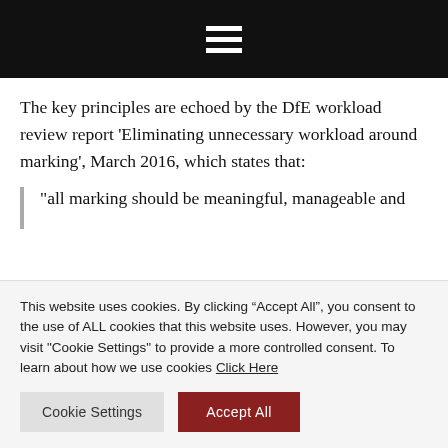≡
The key principles are echoed by the DfE workload review report 'Eliminating unnecessary workload around marking', March 2016, which states that:
“all marking should be meaningful, manageable and
This website uses cookies. By clicking “Accept All”, you consent to the use of ALL cookies that this website uses. However, you may visit "Cookie Settings" to provide a more controlled consent. To learn about how we use cookies Click Here